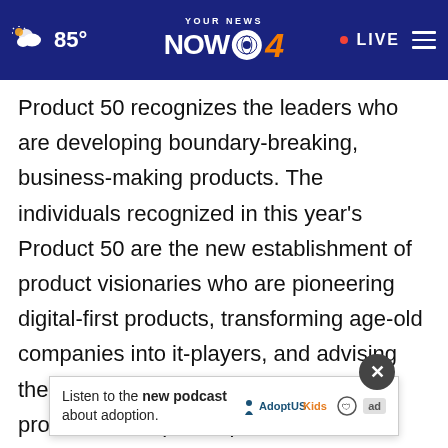YOUR NEWS NOW 4 | 85° | LIVE
Product 50 recognizes the leaders who are developing boundary-breaking, business-making products. The individuals recognized in this year's Product 50 are the new establishment of product visionaries who are pioneering digital-first products, transforming age-old companies into it-players, and advising the most successful teams through the product development process.
In ad[vertition to being named to Insider's Products That Count, Moattis also the